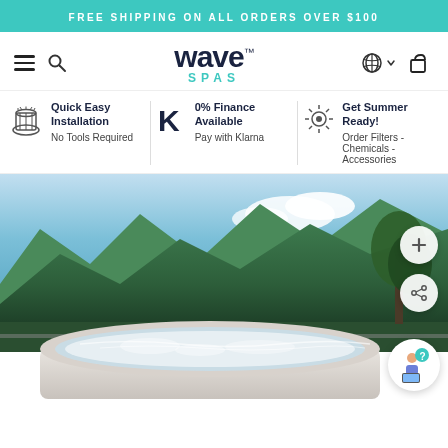FREE SHIPPING ON ALL ORDERS OVER $100
[Figure (logo): Wave Spas logo with hamburger menu, search icon, flag/language selector, and cart icon in navigation bar]
Quick Easy Installation
No Tools Required
0% Finance Available
Pay with Klarna
Get Summer Ready!
Order Filters - Chemicals - Accessories
[Figure (photo): Inflatable hot tub / spa set outdoors on a terrace with mountain and sky backdrop. Round white inflatable spa filled with bubbling water. Green forested mountains in background with blue sky and clouds.]